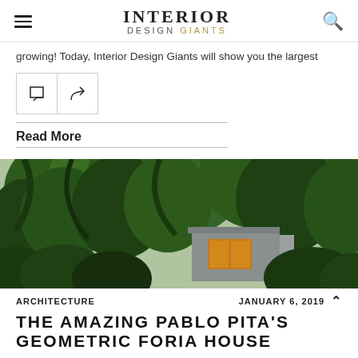INTERIOR DESIGN GIANTS
growing! Today, Interior Design Giants will show you the largest
[Figure (screenshot): Two icon buttons: a comment bubble icon and a share/forward arrow icon, each in a bordered square box]
Read More
[Figure (photo): Exterior photo of a modern geometric house with grey and orange/yellow facade, surrounded by dense green trees and foliage]
ARCHITECTURE    JANUARY 6, 2019
THE AMAZING PABLO PITA'S GEOMETRIC FORIA HOUSE